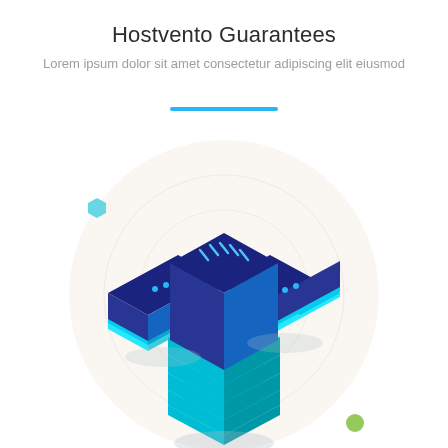Hostvento Guarantees
Lorem ipsum dolor sit amet consectetur adipiscing elit eiusmod
[Figure (illustration): Isometric illustration of server/data center stacks. A tall central server stack with dark navy blue panels and cyan glowing layer edges, flanked by two shorter server units on the left and right. All sit on a circular background with concentric rings suggesting connectivity. A small cyan hexagon decorates the upper-left and a small green circle appears at the lower-right. The overall color palette is navy blue, cyan/teal, and white.]